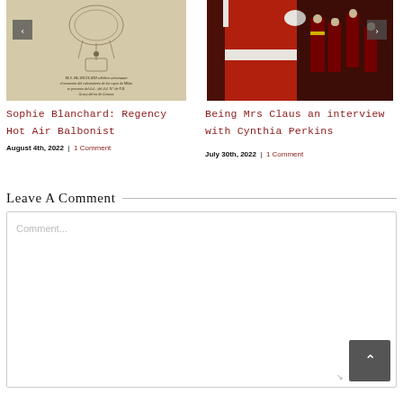[Figure (photo): Vintage engraving/illustration of Sophie Blanchard, hot air balloonist, with cursive text below image]
[Figure (photo): Photo of person dressed as Mrs. Claus in red costume surrounded by nutcracker decorations]
Sophie Blanchard: Regency Hot Air Balbonist
August 4th, 2022  |  1 Comment
Being Mrs Claus an interview with Cynthia Perkins
July 30th, 2022  |  1 Comment
Leave A Comment
Comment...